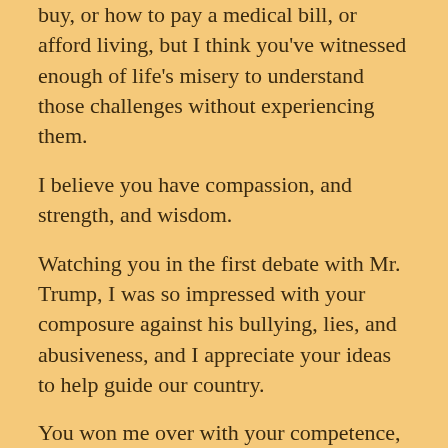buy, or how to pay a medical bill, or afford living, but I think you've witnessed enough of life's misery to understand those challenges without experiencing them.
I believe you have compassion, and strength, and wisdom.
Watching you in the first debate with Mr. Trump, I was so impressed with your composure against his bullying, lies, and abusiveness, and I appreciate your ideas to help guide our country.
You won me over with your competence, regardless of your flaws and missteps, and I